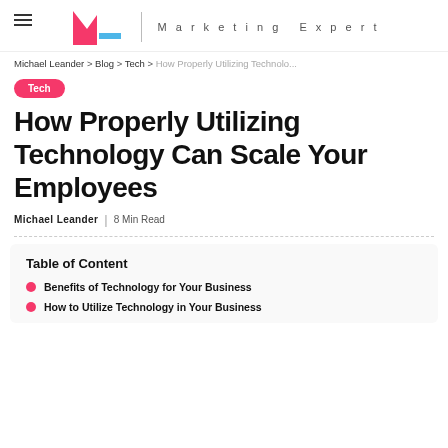Michael Leander Marketing Expert
Michael Leander > Blog > Tech > How Properly Utilizing Technolo...
Tech
How Properly Utilizing Technology Can Scale Your Employees
Michael Leander | 8 Min Read
Table of Content
Benefits of Technology for Your Business
How to Utilize Technology in Your Business